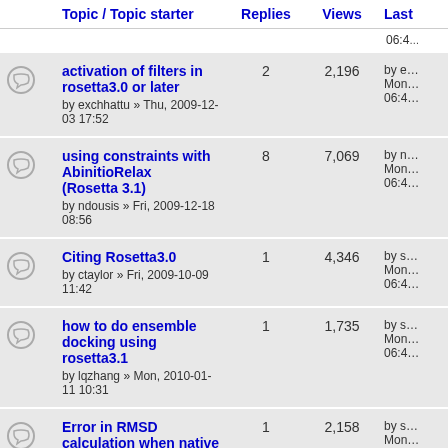| Topic / Topic starter | Replies | Views | Las… |
| --- | --- | --- | --- |
| (partial row) |  |  | 06:4… |
| activation of filters in rosetta3.0 or later
by exchhattu » Thu, 2009-12-03 17:52 | 2 | 2,196 | by e…
Mon…
06:4… |
| using constraints with AbinitioRelax (Rosetta 3.1)
by ndousis » Fri, 2009-12-18 08:56 | 8 | 7,069 | by n…
Mon…
06:4… |
| Citing Rosetta3.0
by ctaylor » Fri, 2009-10-09 11:42 | 1 | 4,346 | by s…
Mon…
06:4… |
| how to do ensemble docking using rosetta3.1
by lqzhang » Mon, 2010-01-11 10:31 | 1 | 1,735 | by s…
Mon…
06:4… |
| Error in RMSD calculation when native sequence deviates
by abdullah » Tue, 2009-11-10 08:56 | 1 | 2,158 | by s…
Mon…
06:4… |